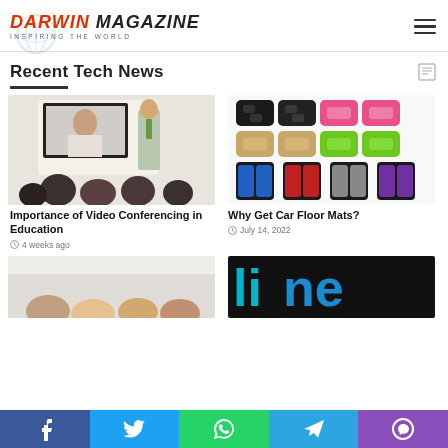DARWIN MAGAZINE INSPIRING THE WORLD
Recent Tech News
[Figure (photo): Classroom with students watching a video conference on a large screen, teacher standing at whiteboard]
Importance of Video Conferencing in Education
4 weeks ago
[Figure (photo): Car floor mats in various colors: black, pink, beige, green (top row) and blue, red, grey, purple (bottom row)]
Why Get Car Floor Mats?
July 14, 2022
[Figure (photo): Partial view of a classroom with students from behind]
[Figure (screenshot): Partial view of a dark-themed website or app with blue/cyan text]